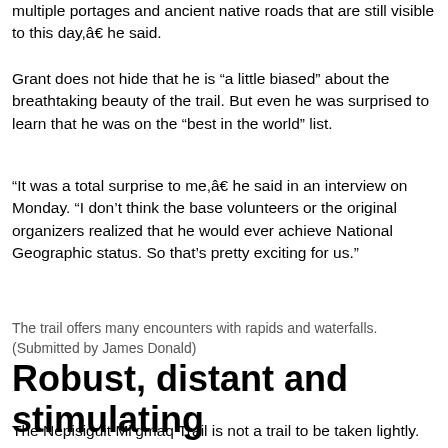multiple portages and ancient native roads that are still visible to this day,â€ he said.
Grant does not hide that he is “a little biased” about the breathtaking beauty of the trail. But even he was surprised to learn that he was on the “best in the world” list.
“It was a total surprise to me,â€ he said in an interview on Monday. “I don’t think the base volunteers or the original organizers realized that he would ever achieve National Geographic status. So that’s pretty exciting for us.”
The trail offers many encounters with rapids and waterfalls. (Submitted by James Donald)
Robust, distant and stimulating
The Nepisiguit Mi’gmaq Trail is not a trail to be taken lightly.